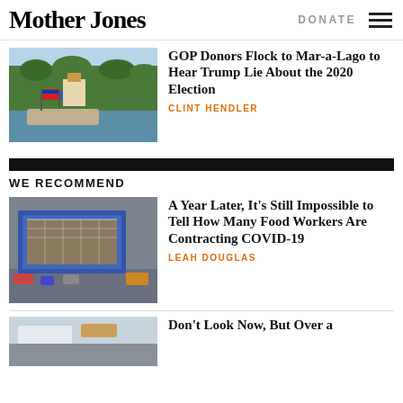Mother Jones | DONATE
[Figure (photo): Boats with Trump flags on a waterway near Mar-a-Lago with palm trees in background]
GOP Donors Flock to Mar-a-Lago to Hear Trump Lie About the 2020 Election
CLINT HENDLER
WE RECOMMEND
[Figure (photo): Aerial view of a construction site with blue barriers and vehicles]
A Year Later, It’s Still Impossible to Tell How Many Food Workers Are Contracting COVID-19
LEAH DOUGLAS
[Figure (photo): Partial image of another article]
Don’t Look Now, But Over a